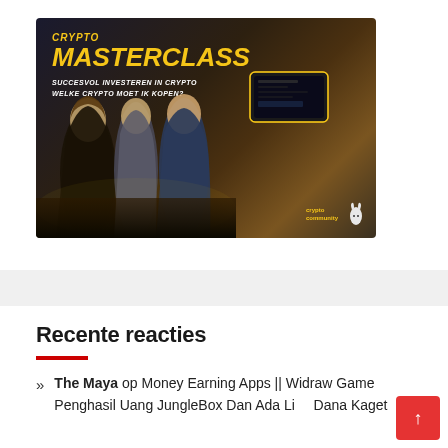[Figure (illustration): Crypto Masterclass advertisement banner showing three people looking at a phone, with yellow text reading CRYPTO MASTERCLASS, subtitle SUCCESVOL INVESTEREN IN CRYPTO / WELKE CRYPTO MOET IK KOPEN?, a phone device image, and crypto community rabbit logo in bottom right.]
Recente reacties
The Maya op Money Earning Apps || Widraw Game Penghasil Uang JungleBox Dan Ada Link Dana Kaget